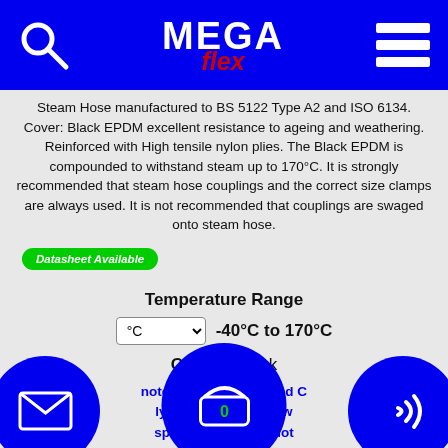[Figure (logo): Megaflex logo with search icon and hamburger menu on blue header bar]
Steam Hose manufactured to BS 5122 Type A2 and ISO 6134. Cover: Black EPDM excellent resistance to ageing and weathering. Reinforced with High tensile nylon plies. The Black EPDM is compounded to withstand steam up to 170°C. It is strongly recommended that steam hose couplings and the correct size clamps are always used. It is not recommended that couplings are swaged onto steam hose.
Datasheet Available
Temperature Range
°C  -40°C to 170°C
Colour: Black
Please note: Hose, Tube, Ducting and Couplings simply cannot be sold using the website, please speak to a Sales Engineer for a quote.
0161 ...2.